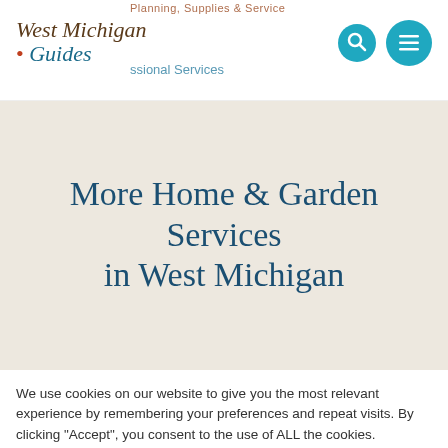West Michigan Guides
More Home & Garden Services in West Michigan
We use cookies on our website to give you the most relevant experience by remembering your preferences and repeat visits. By clicking "Accept", you consent to the use of ALL the cookies.
Cookie settings | ACCEPT